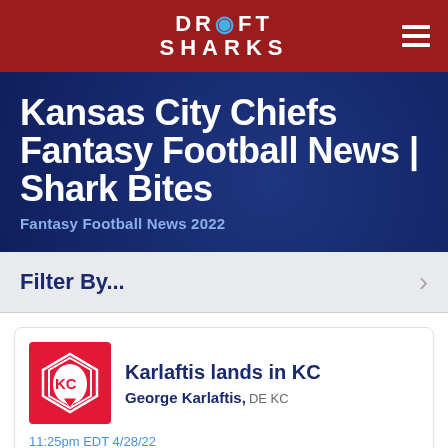DRAFT SHARKS
Kansas City Chiefs Fantasy Football News | Shark Bites
Fantasy Football News 2022
Filter By...
Karlaftis lands in KC
George Karlaftis, DE KC
11:25pm EDT 4/28/22
The Chiefs added EDGE George Karlaftis with the 30th pick of the 2022 NFL Draft. Karlaftis tallied 12 sacks and 27 total